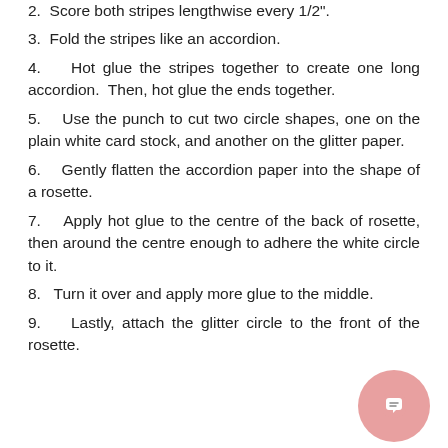2.  Score both stripes lengthwise every 1/2".
3.  Fold the stripes like an accordion.
4.  Hot glue the stripes together to create one long accordion.  Then, hot glue the ends together.
5.  Use the punch to cut two circle shapes, one on the plain white card stock, and another on the glitter paper.
6.  Gently flatten the accordion paper into the shape of a rosette.
7.  Apply hot glue to the centre of the back of rosette, then around the centre enough to adhere the white circle to it.
8.  Turn it over and apply more glue to the middle.
9.  Lastly, attach the glitter circle to the front of the rosette.